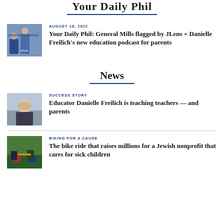Your Daily Phil
AUGUST 18, 2022
Your Daily Phil: General Mills flagged by JLens + Danielle Freilich's new education podcast for parents
News
SUCCESS STORY
Educator Danielle Freilich is teaching teachers — and parents
BIKING FOR A CAUSE
The bike ride that raises millions for a Jewish nonprofit that cares for sick children